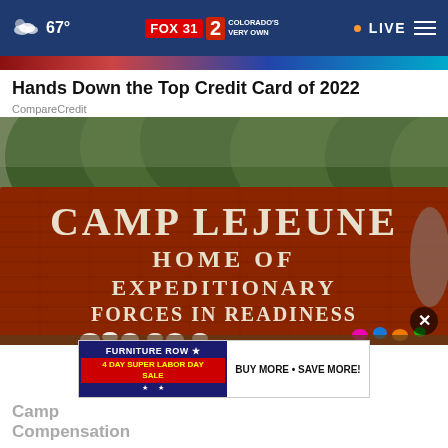67° FOX 31 2 COLORADO'S VERY OWN • LIVE
[Figure (screenshot): Colorful horizontal advertisement strip banner]
Hands Down the Top Credit Card of 2022
CompareCredit
[Figure (photo): Photo of Camp Lejeune brick entrance sign reading CAMP LEJEUNE HOME OF EXPEDITIONARY FORCES IN READINESS with flowers and tributes placed at the base]
[Figure (infographic): Furniture Row 4 Day Super Labor Day Sale advertisement banner: BUY MORE • SAVE MORE!]
Camp Lejeune Compensation